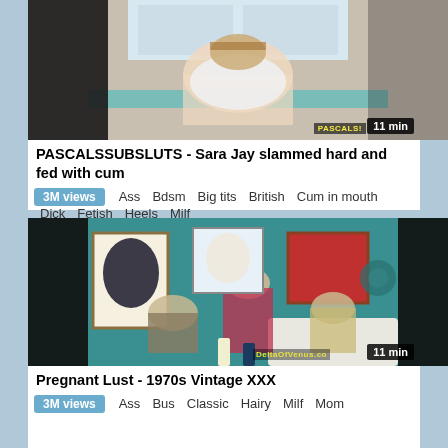[Figure (photo): Video thumbnail showing a woman in white lingerie leaning over a table, with PASCALS watermark and '11 min' duration badge]
PASCALSSUBSLUTS - Sara Jay slammed hard and fed with cum
3M views   Ass   Bdsm   Big tits   British   Cum in mouth   Dick   Fetish   Heels   Milf
[Figure (photo): Video thumbnail from a 1970s vintage scene with three people in a retro room, DeltaOfVenus.co watermark and '11 min' duration badge]
Pregnant Lust - 1970s Vintage XXX
3M views   Ass   Bus   Classic   Hairy   Milf   Mom